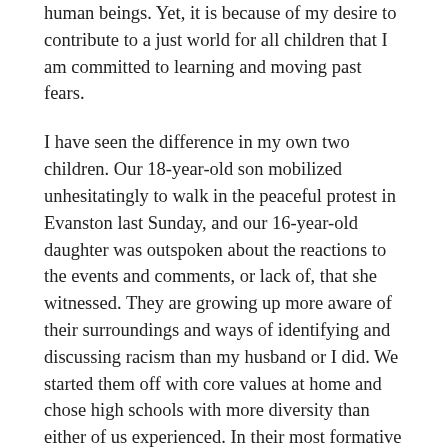human beings. Yet, it is because of my desire to contribute to a just world for all children that I am committed to learning and moving past fears.
I have seen the difference in my own two children. Our 18-year-old son mobilized unhesitatingly to walk in the peaceful protest in Evanston last Sunday, and our 16-year-old daughter was outspoken about the reactions to the events and comments, or lack of, that she witnessed. They are growing up more aware of their surroundings and ways of identifying and discussing racism than my husband or I did. We started them off with core values at home and chose high schools with more diversity than either of us experienced. In their most formative years they attended Montessori school, where children learn to cooperate with others instead of compete, to include one another and collaborate, to be curious and empathetic. With the plasticity of youth, it is natural for children and adolescents to seek to understand the issues of today; they are